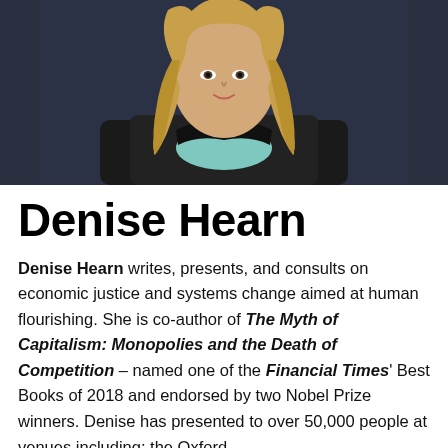[Figure (photo): Professional headshot of Denise Hearn, a woman with long blonde wavy hair, wearing a black blazer over a light teal top, photographed against a dark background.]
Denise Hearn
Denise Hearn writes, presents, and consults on economic justice and systems change aimed at human flourishing. She is co-author of The Myth of Capitalism: Monopolies and the Death of Competition – named one of the Financial Times' Best Books of 2018 and endorsed by two Nobel Prize winners. Denise has presented to over 50,000 people at venues including: the Oxford